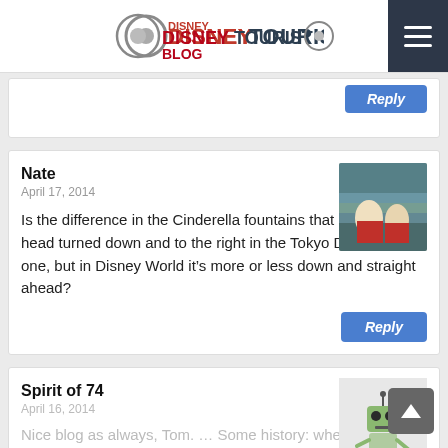DISNEYTOURISTBLOG
Reply
Nate
April 17, 2014
Is the difference in the Cinderella fountains that she’s got her head turned down and to the right in the Tokyo Disneyland one, but in Disney World it’s more or less down and straight ahead?
Reply
Spirit of 74
April 16, 2014
Nice blog as always, Tom. … Some history: when the